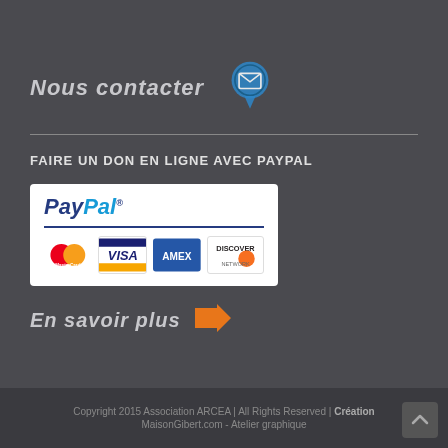Nous contacter
FAIRE UN DON EN LIGNE AVEC PAYPAL
[Figure (logo): PayPal donation button with MasterCard, Visa, AMEX, Discover card logos]
En savoir plus
Copyright 2015 Association ARCEA | All Rights Reserved | Création MaisonGibert.com - Atelier graphique